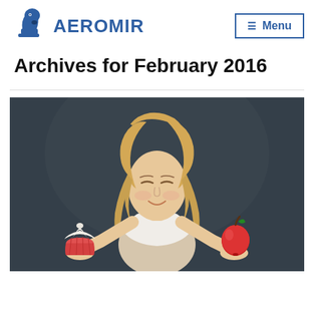[Figure (logo): Aeromir logo: blue chess knight icon on the left, bold blue text 'AEROMIR' to the right]
[Figure (other): Menu button with hamburger icon and text 'Menu', with blue border]
Archives for February 2016
[Figure (photo): Blonde woman with closed eyes smiling, holding a cupcake in her left hand and a red apple in her right hand, against a dark chalkboard background]